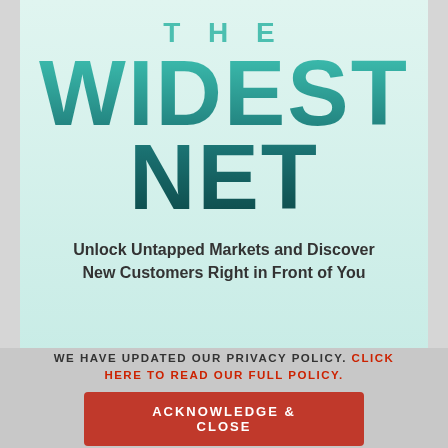THE WIDEST NET
Unlock Untapped Markets and Discover New Customers Right in Front of You
WE HAVE UPDATED OUR PRIVACY POLICY. CLICK HERE TO READ OUR FULL POLICY.
ACKNOWLEDGE & CLOSE